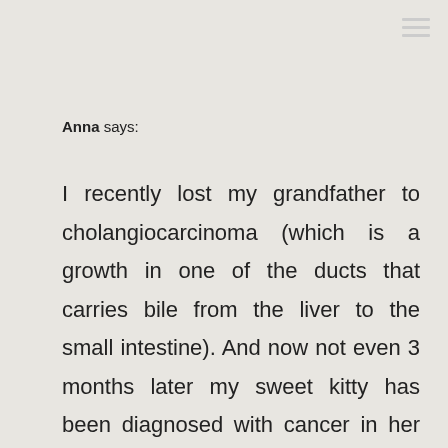Anna says:
I recently lost my grandfather to cholangiocarcinoma (which is a growth in one of the ducts that carries bile from the liver to the small intestine). And now not even 3 months later my sweet kitty has been diagnosed with cancer in her salivary glands, and